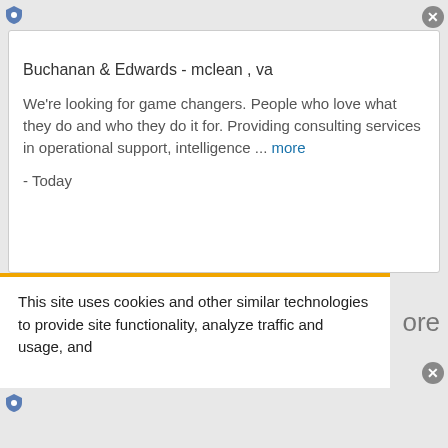Buchanan & Edwards - mclean , va
We're looking for game changers. People who love what they do and who they do it for. Providing consulting services in operational support, intelligence ... more
- Today
This site uses cookies and other similar technologies to provide site functionality, analyze traffic and usage, and
ore